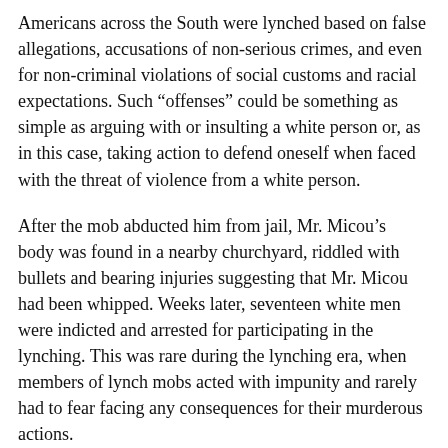Americans across the South were lynched based on false allegations, accusations of non-serious crimes, and even for non-criminal violations of social customs and racial expectations. Such “offenses” could be something as simple as arguing with or insulting a white person or, as in this case, taking action to defend oneself when faced with the threat of violence from a white person.
After the mob abducted him from jail, Mr. Micou’s body was found in a nearby churchyard, riddled with bullets and bearing injuries suggesting that Mr. Micou had been whipped. Weeks later, seventeen white men were indicted and arrested for participating in the lynching. This was rare during the lynching era, when members of lynch mobs acted with impunity and rarely had to fear facing any consequences for their murderous actions.